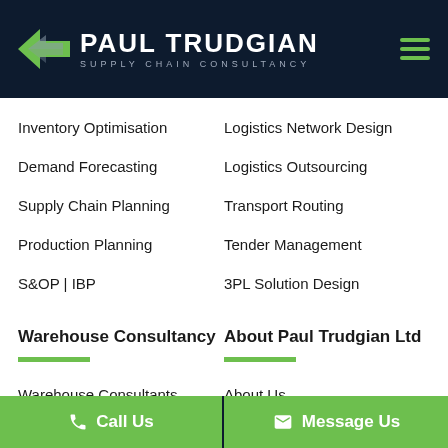[Figure (logo): Paul Trudgian Supply Chain Consultancy logo with green arrow icon and hamburger menu icon]
Inventory Optimisation
Logistics Network Design
Demand Forecasting
Logistics Outsourcing
Supply Chain Planning
Transport Routing
Production Planning
Tender Management
S&OP | IBP
3PL Solution Design
Warehouse Consultancy
About Paul Trudgian Ltd
Warehouse Consultants
About Us
Warehouse Design
Consulting Team
Call Us
Message Us